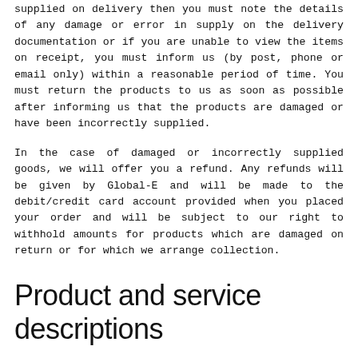supplied on delivery then you must note the details of any damage or error in supply on the delivery documentation or if you are unable to view the items on receipt, you must inform us (by post, phone or email only) within a reasonable period of time. You must return the products to us as soon as possible after informing us that the products are damaged or have been incorrectly supplied.
In the case of damaged or incorrectly supplied goods, we will offer you a refund. Any refunds will be given by Global-E and will be made to the debit/credit card account provided when you placed your order and will be subject to our right to withhold amounts for products which are damaged on return or for which we arrange collection.
Product and service descriptions
We have taken reasonable precautions to try to ensure that prices quoted on the Website are correct and that all